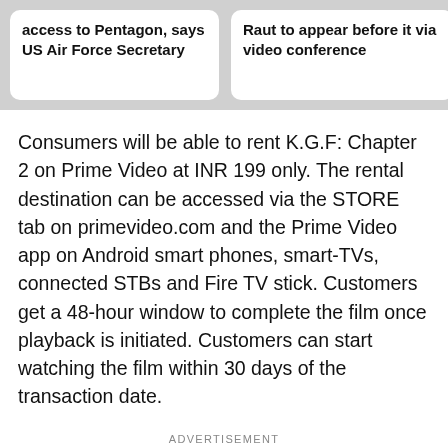access to Pentagon, says US Air Force Secretary
Raut to appear before it via video conference
Consumers will be able to rent K.G.F: Chapter 2 on Prime Video at INR 199 only. The rental destination can be accessed via the STORE tab on primevideo.com and the Prime Video app on Android smart phones, smart-TVs, connected STBs and Fire TV stick. Customers get a 48-hour window to complete the film once playback is initiated. Customers can start watching the film within 30 days of the transaction date.
ADVERTISEMENT